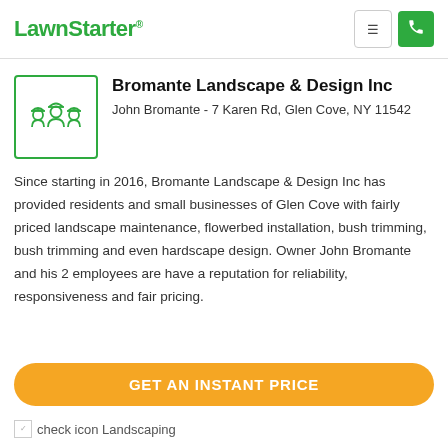LawnStarter
[Figure (logo): LawnStarter company logo with three people wearing gardening hats, green line art on white background with green border]
Bromante Landscape & Design Inc
John Bromante - 7 Karen Rd, Glen Cove, NY 11542
Since starting in 2016, Bromante Landscape & Design Inc has provided residents and small businesses of Glen Cove with fairly priced landscape maintenance, flowerbed installation, bush trimming, bush trimming and even hardscape design. Owner John Bromante and his 2 employees are have a reputation for reliability, responsiveness and fair pricing.
GET AN INSTANT PRICE
check icon Landscaping